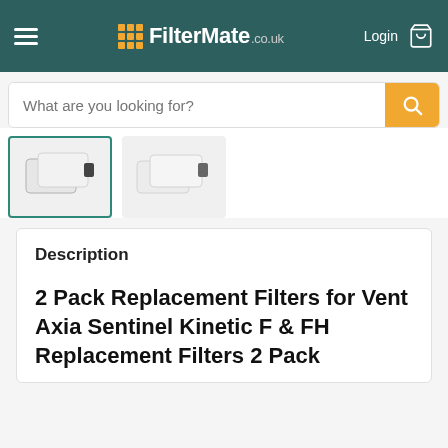FilterMate.co.uk — Login
[Figure (screenshot): Search bar with placeholder text 'What are you looking for?' and orange search button]
[Figure (photo): Two product thumbnail images of replacement filters — first selected with teal border, second without border]
Description
2 Pack Replacement Filters for Vent Axia Sentinel Kinetic F & FH Replacement Filters 2 Pack